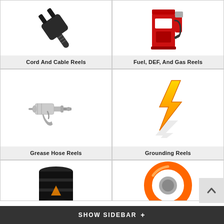[Figure (illustration): Electric plug/cord icon (black power plug)]
Cord And Cable Reels
[Figure (illustration): Red gas/fuel pump station icon]
Fuel, DEF, And Gas Reels
[Figure (illustration): Grease gun / grease hose tool icon (silver metallic)]
Grease Hose Reels
[Figure (illustration): Yellow/orange lightning bolt icon (grounding symbol)]
Grounding Reels
[Figure (illustration): Black oil drum/barrel icon (partially visible)]
[Figure (illustration): Orange and silver hose reel icon (partially visible)]
SHOW SIDEBAR +